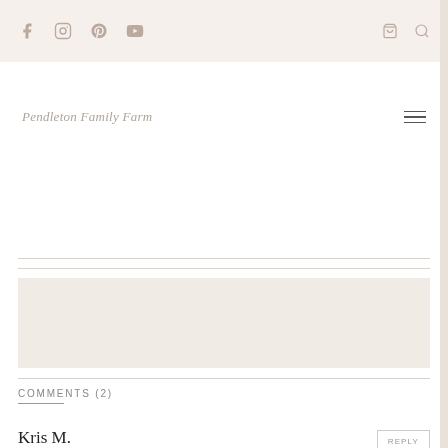Social icons: Facebook, Instagram, Pinterest, YouTube; Cart icon; Search icon
Pendleton Family Farm
[Figure (other): Beige/cream colored content box area]
COMMENTS (2)
Kris M.
JANUARY 25, 2021 AT 3:21 PM